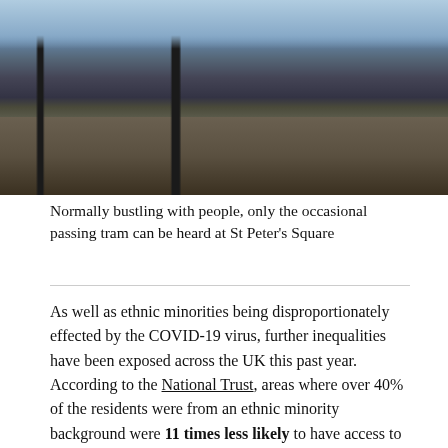[Figure (photo): Empty urban plaza/square scene, normally bustling with people. Shows street furniture, benches, tram infrastructure at St Peter's Square. Black and white or desaturated photograph showing an empty public space.]
Normally bustling with people, only the occasional passing tram can be heard at St Peter's Square
As well as ethnic minorities being disproportionately effected by the COVID-19 virus, further inequalities have been exposed across the UK this past year. According to the National Trust, areas where over 40% of the residents were from an ethnic minority background were 11 times less likely to have access to public green space than in